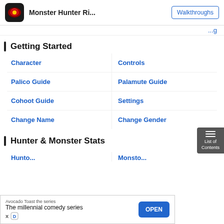Monster Hunter Ri... | Walkthroughs
(partial link cut off at top)
Getting Started
Character
Controls
Palico Guide
Palamute Guide
Cohoot Guide
Settings
Change Name
Change Gender
Hunter & Monster Stats
Ad: Avocado Toast the series — The millennial comedy series — OPEN